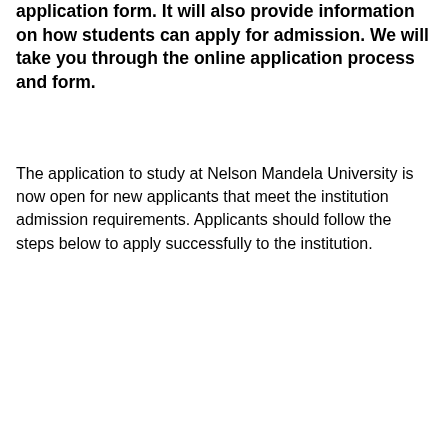application form. It will also provide information on how students can apply for admission. We will take you through the online application process and form.
The application to study at Nelson Mandela University is now open for new applicants that meet the institution admission requirements. Applicants should follow the steps below to apply successfully to the institution.